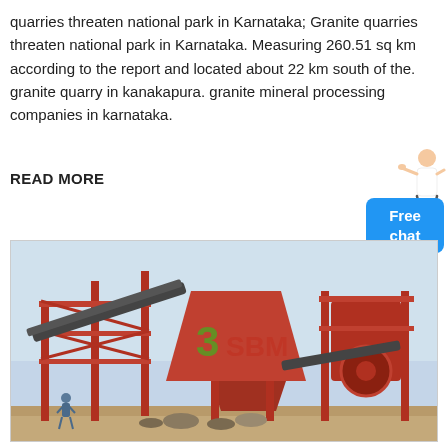quarries threaten national park in Karnataka; Granite quarries threaten national park in Karnataka. Measuring 260.51 sq km according to the report and located about 22 km south of the. granite quarry in kanakapura. granite mineral processing companies in karnataka.
READ MORE
[Figure (photo): Industrial granite quarry mineral processing machinery with red metal framework, conveyor belts, hoppers, and crushers at a quarry site. Workers visible at ground level. Overcast/hazy sky in background.]